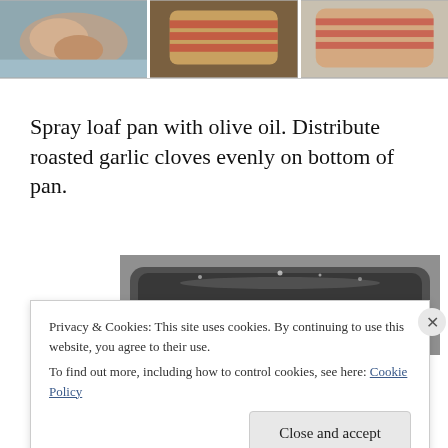[Figure (photo): Three food preparation photos side by side at top: raw chicken/meat on blue surface, rolled meat on cutting board, and rolled meat on paper/foil]
Spray loaf pan with olive oil. Distribute roasted garlic cloves evenly on bottom of pan.
[Figure (photo): Dark metal loaf pan viewed from above, greased and empty]
Privacy & Cookies: This site uses cookies. By continuing to use this website, you agree to their use.
To find out more, including how to control cookies, see here: Cookie Policy
Close and accept